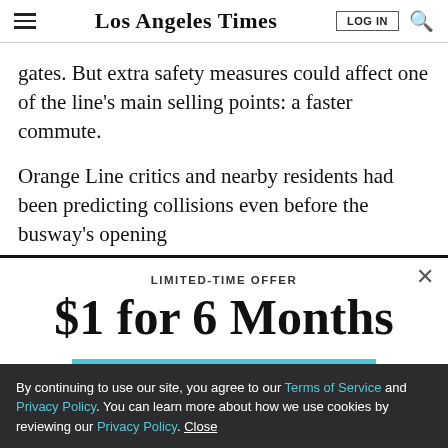Los Angeles Times
gates. But extra safety measures could affect one of the line's main selling points: a faster commute.
Orange Line critics and nearby residents had been predicting collisions even before the busway's opening
LIMITED-TIME OFFER
$1 for 6 Months
SUBSCRIBE NOW
By continuing to use our site, you agree to our Terms of Service and Privacy Policy. You can learn more about how we use cookies by reviewing our Privacy Policy. Close